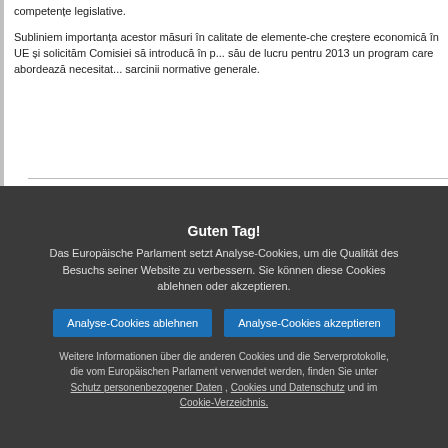competențe legislative.
Subliniem importanța acestor măsuri în calitate de elemente-che creștere economică în UE și solicităm Comisiei să introducă în p... său de lucru pentru 2013 un program care abordează necesitat... sarcinii normative generale.
Angelika Werthmann (ALDE), schriftlich. – Der Bericht "Bes... Rechtsetzung" führt vor Augen, dass es wesentlich ist, dass die... den Verträgen niedergelegten Grundsätze von Subsidiarität und... Verhältnismäßigkeit achtet. Vor allem unzureichende oder fehle... Begründungen der Kommission zum Subsidiaritätsgrundsatz wu... einzelstaatlichen Parlamenten gerügt. Darüber hinaus ist es w...
Guten Tag!
Das Europäische Parlament setzt Analyse-Cookies, um die Qualität des Besuchs seiner Website zu verbessern. Sie können diese Cookies ablehnen oder akzeptieren.
Analyse-Cookies ablehnen  Analyse-Cookies akzeptieren
Weitere Informationen über die anderen Cookies und die Serverprotokolle, die vom Europäischen Parlament verwendet werden, finden Sie unter Schutz personenbezogener Daten , Cookies und Datenschutz und im Cookie-Verzeichnis.